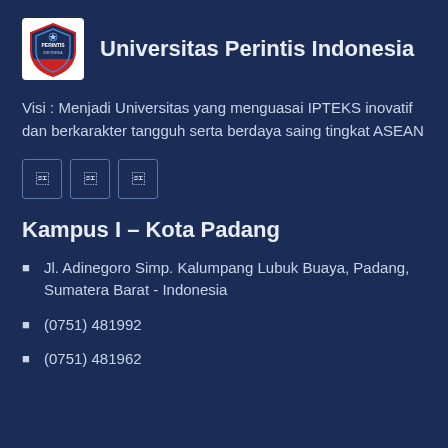[Figure (logo): Universitas Perintis Indonesia shield/crest logo in white box]
Universitas Perintis Indonesia
Visi : Menjadi Universitas yang menguasai IPTEKS inovatif dan berkarakter tangguh serta berdaya saing tingkat ASEAN
[Figure (other): Three social media icon buttons (Facebook, Twitter/X, Instagram) in outlined square boxes]
Kampus I – Kota Padang
Jl. Adinegoro Simp. Kalumpang Lubuk Buaya, Padang, Sumatera Barat - Indonesia
(0751) 481992
(0751) 481962